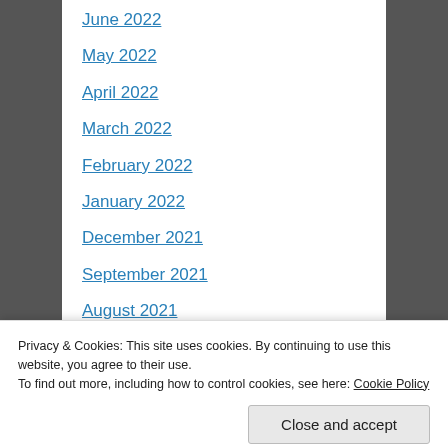June 2022
May 2022
April 2022
March 2022
February 2022
January 2022
December 2021
September 2021
August 2021
July 2021
June 2021
Privacy & Cookies: This site uses cookies. By continuing to use this website, you agree to their use.
To find out more, including how to control cookies, see here: Cookie Policy
Close and accept